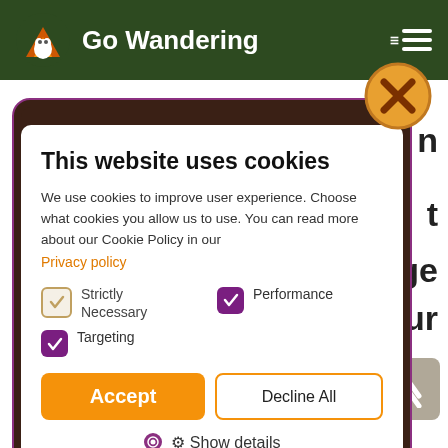[Figure (screenshot): Go Wandering website navigation bar with logo (mountain/squirrel icon), site title 'Go Wandering', and hamburger menu icon on dark green background]
[Figure (screenshot): Cookie consent modal dialog with title 'This website uses cookies', descriptive text, Privacy policy link, checkboxes for Strictly Necessary, Performance, and Targeting cookies, Accept and Decline All buttons, and Show details link. Overlaid on background website content.]